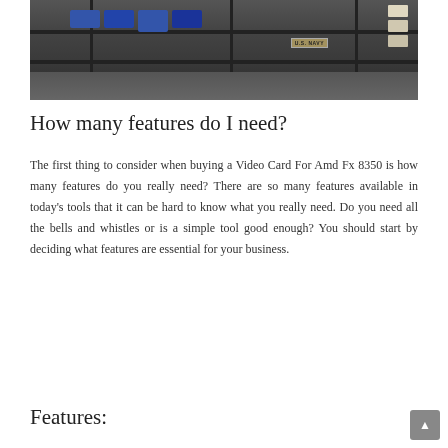[Figure (photo): Interior of a store or workshop showing shelving units with folded blue items (possibly fabric/clothing), a U.S. Navy labeled item, and boxes on the right side. Dark, moody lighting.]
How many features do I need?
The first thing to consider when buying a Video Card For Amd Fx 8350 is how many features do you really need? There are so many features available in today’s tools that it can be hard to know what you really need. Do you need all the bells and whistles or is a simple tool good enough? You should start by deciding what features are essential for your business.
Features: